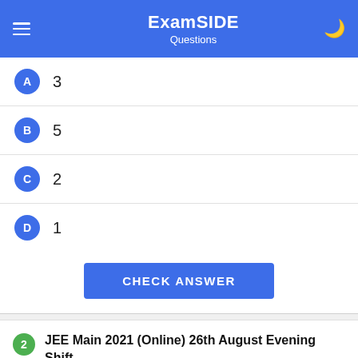ExamSIDE Questions
A  3
B  5
C  2
D  1
CHECK ANSWER
2  JEE Main 2021 (Online) 26th August Evening Shift
MCQ (Single Correct Answer)
The value of